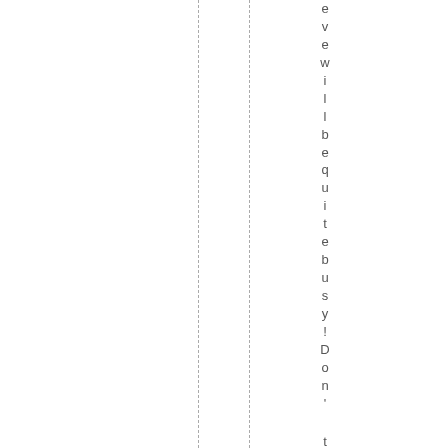e will be quite busy! Don't be late a